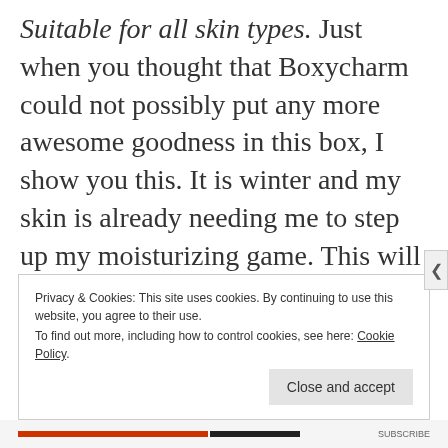Suitable for all skin types. Just when you thought that Boxycharm could not possibly put any more awesome goodness in this box, I show you this. It is winter and my skin is already needing me to step up my moisturizing game. This will be a great oil to try and I am thrilled to have gotten it. At $58 a bottle, it is not something I would have bought for myself. This has the potential to be a big winner.
Privacy & Cookies: This site uses cookies. By continuing to use this website, you agree to their use. To find out more, including how to control cookies, see here: Cookie Policy
Close and accept